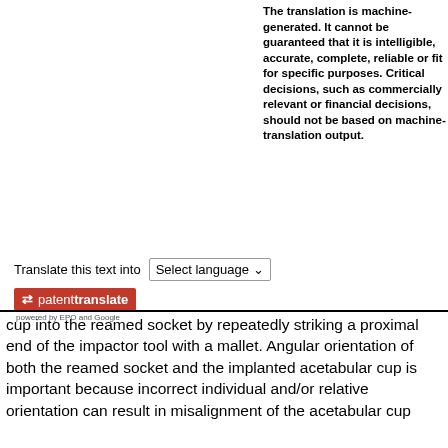The translation is machine-generated. It cannot be guaranteed that it is intelligible, accurate, complete, reliable or fit for specific purposes. Critical decisions, such as commercially relevant or financial decisions, should not be based on machine-translation output.
Translate this text into  [Select language]
[Figure (logo): Patent Translate logo badge in red with arrows icon, text 'patenttranslate', and 'powered by EPO and Google' below]
cup into the reamed socket by repeatedly striking a proximal end of the impactor tool with a mallet. Angular orientation of both the reamed socket and the implanted acetabular cup is important because incorrect individual and/or relative orientation can result in misalignment of the acetabular cup